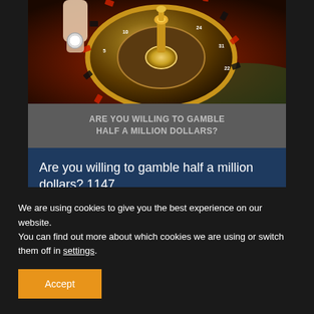[Figure (photo): Roulette wheel casino photo with a hand holding a chip over a spinning roulette wheel]
ARE YOU WILLING TO GAMBLE HALF A MILLION DOLLARS?
Are you willing to gamble half a million dollars? 1147
Jamie Burton
We are using cookies to give you the best experience on our website.
You can find out more about which cookies we are using or switch them off in settings.
Accept